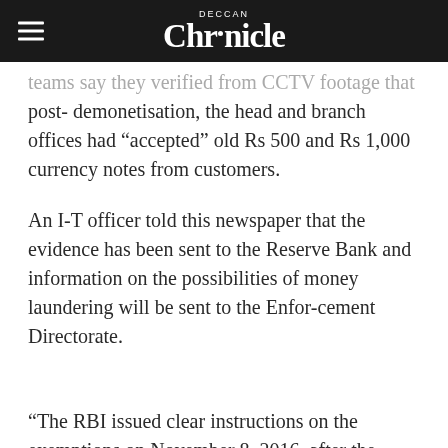Deccan Chronicle
teams say they verified from CCTV footage that post- demonetisation, the head and branch offices had “accepted” old Rs 500 and Rs 1,000 currency notes from customers.
An I-T officer told this newspaper that the evidence has been sent to the Reserve Bank and information on the possibilities of money laundering will be sent to the Enfor-cement Directorate.
“The RBI issued clear instructions on the exemptions on November 8, 2016, after the Prime Minister’s speech on demonetisation, that only petrol bunks and hospitals could accept the old currency notes